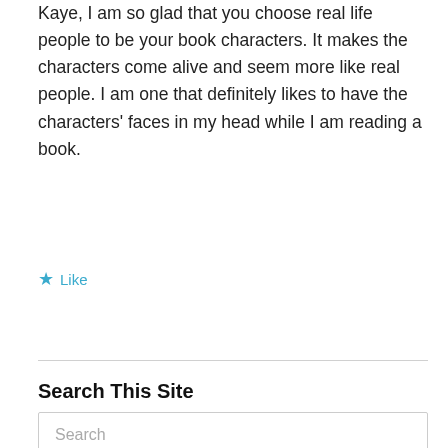Kaye, I am so glad that you choose real life people to be your book characters. It makes the characters come alive and seem more like real people. I am one that definitely likes to have the characters' faces in my head while I am reading a book.
Like
Search This Site
Search
Subscribe by E-Mail or RSS